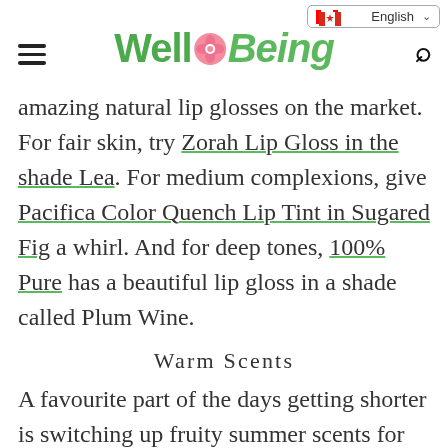Well Being — English (Canada)
amazing natural lip glosses on the market. For fair skin, try Zorah Lip Gloss in the shade Lea. For medium complexions, give Pacifica Color Quench Lip Tint in Sugared Fig a whirl. And for deep tones, 100% Pure has a beautiful lip gloss in a shade called Plum Wine.
Warm Scents
A favourite part of the days getting shorter is switching up fruity summer scents for more cozy ones